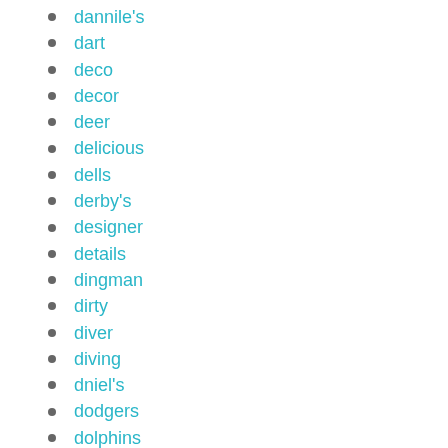dannile's
dart
deco
decor
deer
delicious
dells
derby's
designer
details
dingman
dirty
diver
diving
dniel's
dodgers
dolphins
double
drag
drawing